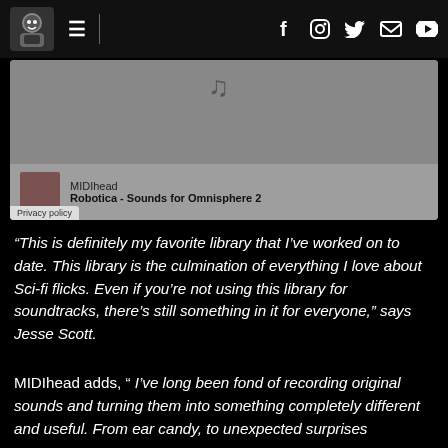MIDIhead navigation bar with logo, hamburger menu, and social icons (Facebook, Instagram, Twitter, Email, YouTube)
[Figure (screenshot): Embedded music player showing MIDIhead - Robotica - Sounds for Omnisphere 2, with gray background and Privacy policy label]
“This is definitely my favorite library that I’ve worked on to date. This library is the culmination of everything I love about Sci-fi flicks. Even if you’re not using this library for soundtracks, there’s still something in it for everyone,” says Jesse Scott.
MIDIhead adds, “ I’ve long been fond of recording original sounds and turning them into something completely different and useful. From ear candy, to unexpected surprises